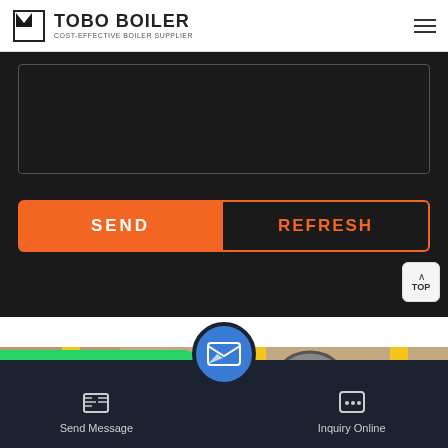TOBO BOILER COST-EFFECTIVE BOILER SUPPLIER
[Figure (screenshot): Dark background form area with a text input box and two buttons: SEND (orange filled) and REFRESH (orange outlined)]
SEND
REFRESH
[Figure (photo): Industrial boiler equipment photo showing yellow poles and circular machinery with WhatsApp badge overlay]
WhatsApp
Send Message  Inquiry Online